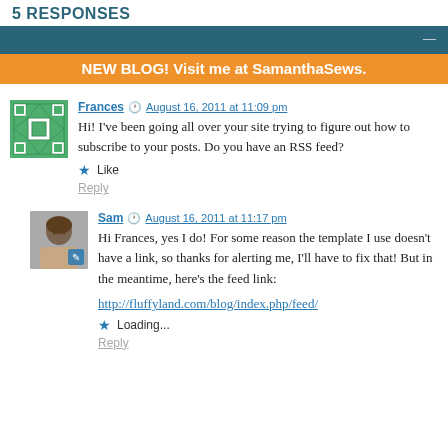5 RESPONSES
NEW BLOG! Visit me at SamanthaSews.
Frances  August 16, 2011 at 11:09 pm
Hi! I've been going all over your site trying to figure out how to subscribe to your posts. Do you have an RSS feed?
★ Like
Reply
Sam  August 16, 2011 at 11:17 pm
Hi Frances, yes I do! For some reason the template I use doesn't have a link, so thanks for alerting me, I'll have to fix that! But in the meantime, here's the feed link:
http://fluffyland.com/blog/index.php/feed/
★ Loading...
Reply